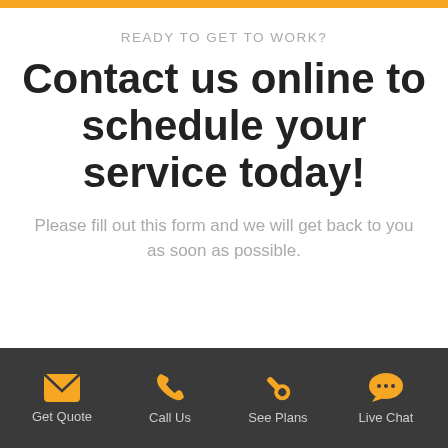READY TO GET TO WORK?
Contact us online to schedule your service today!
Please fill out this form and we will get back to you as soon as possible.
[Figure (infographic): Bottom navigation bar with four icons and labels: Get Quote (envelope icon), Call Us (phone icon), See Plans (wrench icon), Live Chat (speech bubble icon). All icons are orange on a dark gray background.]